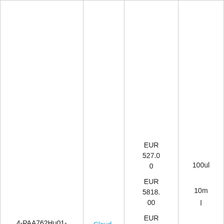| Product ID | Supplier | Price | Size |
| --- | --- | --- | --- |
| 4-PAA762Hu01-APC-Cy7 | Cloud-Clone | EUR 527.00
EUR 5818.00
EUR 1552.00
EUR 698.00
EUR 301.00 | 100ul
10ml
1ml
200ul
20ul |
|  |  |  |  |
Description: A Rabbit polyclonal antibody against Human Forkhead Box Protein O3 (FOXO3). This antibody is labeled with